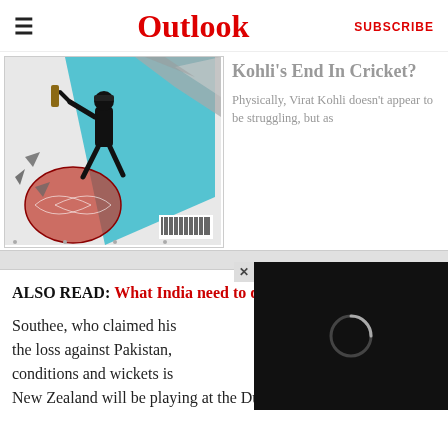Outlook
[Figure (illustration): Outlook magazine cover showing a cricket player in dynamic pose with cricket ball disintegrating, teal and grey abstract background, barcode at bottom right]
Kohli's End In Cricket?
Physically, Virat Kohli doesn't appear to be struggling, but as
ALSO READ: What India need to do to stop New Zealand?
Southee, who claimed his wickets in the loss against Pakistan, conditions and wickets is New Zealand will be playing at the Dubai